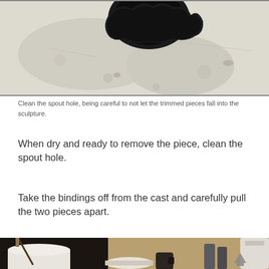[Figure (photo): Close-up photo of a white plaster sculpture spout hole being cleaned, showing rough edges around a dark circular opening]
Clean the spout hole, being careful to not let the trimmed pieces fall into the sculpture.
When dry and ready to remove the piece, clean the spout hole.
Take the bindings off from the cast and carefully pull the two pieces apart.
[Figure (photo): Workshop table with various casting materials and tools including cups, bottles, and supplies]